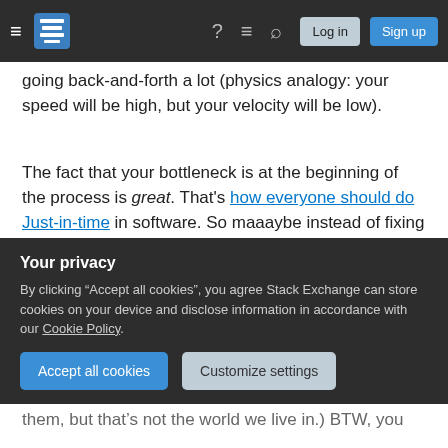Stack Exchange navigation bar with hamburger menu, logo, help, chat, search icons, Log in and Sign up buttons
going back-and-forth a lot (physics analogy: your speed will be high, but your velocity will be low).
The fact that your bottleneck is at the beginning of the process is great. That's how everyone should do Just-in-time in software. So maaaybe instead of fixing it - you just tell everyone to calm down. If bored developers can always research the domain better, automate tests, refactor, optimize the product, optimize the process (deployment pipelines), read about good code, security, etc, etc.
Your privacy
By clicking “Accept all cookies”, you agree Stack Exchange can store cookies on your device and disclose information in accordance with our Cookie Policy.
Accept all cookies
Customize settings
them, but that’s not the world we live in.) BTW, you